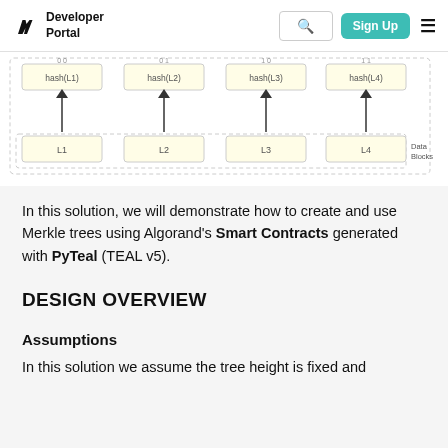Developer Portal | Sign Up
[Figure (schematic): Merkle tree diagram showing leaf nodes L1, L2, L3, L4 with corresponding hash nodes hash(L1), hash(L2), hash(L3), hash(L4) labeled as Data Blocks. Arrows point upward from each leaf to its hash node.]
In this solution, we will demonstrate how to create and use Merkle trees using Algorand's Smart Contracts generated with PyTeal (TEAL v5).
DESIGN OVERVIEW
Assumptions
In this solution we assume the tree height is fixed and